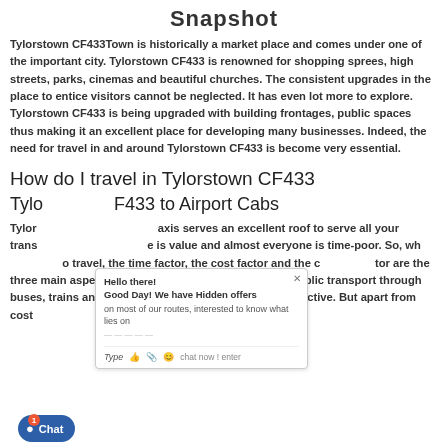Snapshot
Tylorstown CF433Town is historically a market place and comes under one of the important city. Tylorstown CF433 is renowned for shopping sprees, high streets, parks, cinemas and beautiful churches. The consistent upgrades in the place to entice visitors cannot be neglected. It has even lot more to explore. Tylorstown CF433 is being upgraded with building frontages, public spaces thus making it an excellent place for developing many businesses. Indeed, the need for travel in and around Tylorstown CF433 is become very essential.
How do I travel in Tylorstown CF433
Tylorstown CF433 to Airport Cabs
Tylorstown CF433 minicab/taxi serves an excellent roof to serve all your transportation needs. Time is value and almost everyone is time-poor. So, when it comes to travel, the time factor, the cost factor and the comfort factor are the three main aspects a rationale traveler will consider. Public transport through buses, trains and taxis are admirable for being cost-effective. But apart from cost factor, convenience is also equally important for a traveler...